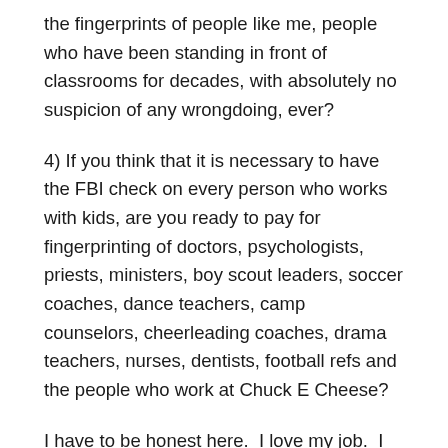the fingerprints of people like me, people who have been standing in front of classrooms for decades, with absolutely no suspicion of any wrongdoing, ever?
4) If you think that it is necessary to have the FBI check on every person who works with kids, are you ready to pay for fingerprinting of doctors, psychologists, priests, ministers, boy scout leaders, soccer coaches, dance teachers, camp counselors, cheerleading coaches, drama teachers, nurses, dentists, football refs and the people who work at Chuck E Cheese?
I have to be honest here.  I love my job.  I have been pretty good at it.  I have adjusted to the state tests, the stupidity of those test security rules, the new curriculum, the decrease of available resources and the constant public criticism of my profession.